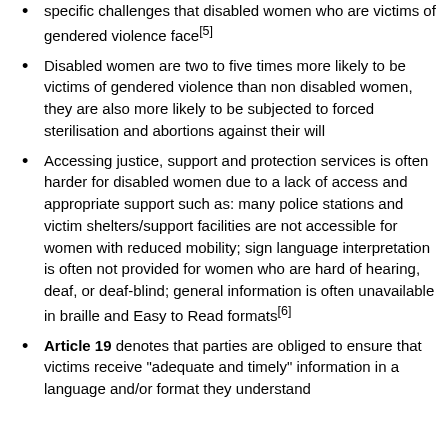specific challenges that disabled women who are victims of gendered violence face[5]
Disabled women are two to five times more likely to be victims of gendered violence than non disabled women, they are also more likely to be subjected to forced sterilisation and abortions against their will
Accessing justice, support and protection services is often harder for disabled women due to a lack of access and appropriate support such as: many police stations and victim shelters/support facilities are not accessible for women with reduced mobility; sign language interpretation is often not provided for women who are hard of hearing, deaf, or deaf-blind; general information is often unavailable in braille and Easy to Read formats[6]
Article 19 denotes that parties are obliged to ensure that victims receive “adequate and timely” information in a language and/or format they understand